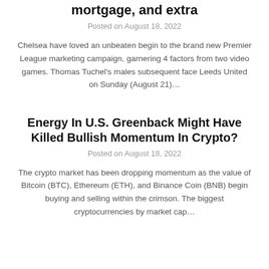mortgage, and extra
Posted on August 18, 2022
Chelsea have loved an unbeaten begin to the brand new Premier League marketing campaign, garnering 4 factors from two video games. Thomas Tuchel's males subsequent face Leeds United on Sunday (August 21)…
Energy In U.S. Greenback Might Have Killed Bullish Momentum In Crypto?
Posted on August 18, 2022
The crypto market has been dropping momentum as the value of Bitcoin (BTC), Ethereum (ETH), and Binance Coin (BNB) begin buying and selling within the crimson. The biggest cryptocurrencies by market cap…